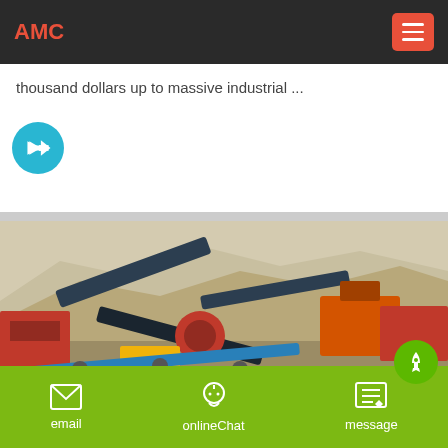AMC
thousand dollars up to massive industrial ...
[Figure (other): Blue circular arrow/next button icon]
[Figure (photo): Industrial mining/crushing equipment with conveyor belts and machinery at a quarry site with rocky terrain in background]
email   onlineChat   message